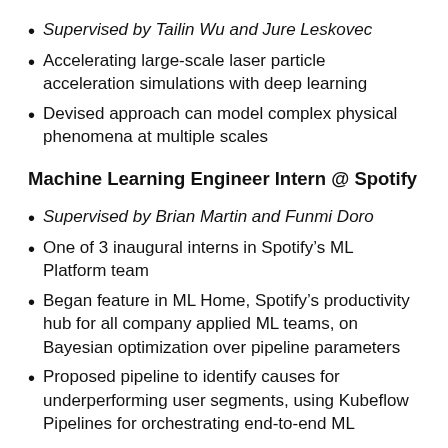Supervised by Tailin Wu and Jure Leskovec
Accelerating large-scale laser particle acceleration simulations with deep learning
Devised approach can model complex physical phenomena at multiple scales
Machine Learning Engineer Intern @ Spotify
Supervised by Brian Martin and Funmi Doro
One of 3 inaugural interns in Spotify's ML Platform team
Began feature in ML Home, Spotify's productivity hub for all company applied ML teams, on Bayesian optimization over pipeline parameters
Proposed pipeline to identify causes for underperforming user segments, using Kubeflow Pipelines for orchestrating end-to-end ML